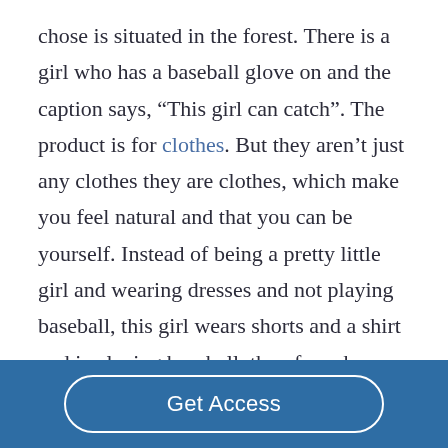chose is situated in the forest. There is a girl who has a baseball glove on and the caption says, “This girl can catch”. The product is for clothes. But they aren’t just any clothes they are clothes, which make you feel natural and that you can be yourself. Instead of being a pretty little girl and wearing dresses and not playing baseball, this girl wears shorts and a shirt and is playing baseball, therefore she
Get Access